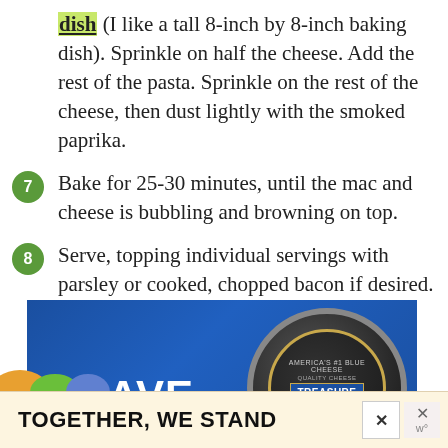dish (I like a tall 8-inch by 8-inch baking dish). Sprinkle on half the cheese. Add the rest of the pasta. Sprinkle on the rest of the cheese, then dust lightly with the smoked paprika.
7  Bake for 25-30 minutes, until the mac and cheese is bubbling and browning on top.
8  Serve, topping individual servings with parsley or cooked, chopped bacon if desired.
[Figure (photo): Advertisement for Treasure Cave blue cheese showing a dark tin of cheese on a blue background with the word BRAVE in white, and an overlay banner reading TOGETHER, WE STAND]